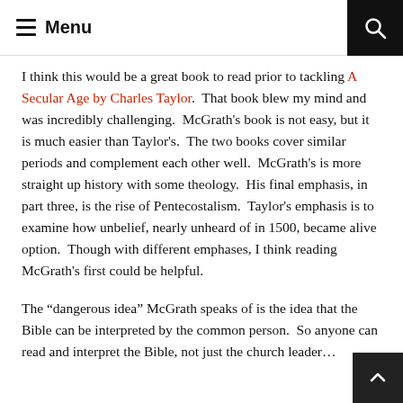Menu
I think this would be a great book to read prior to tackling A Secular Age by Charles Taylor.  That book blew my mind and was incredibly challenging.  McGrath's book is not easy, but it is much easier than Taylor's.  The two books cover similar periods and complement each other well.  McGrath's is more straight up history with some theology.  His final emphasis, in part three, is the rise of Pentecostalism.  Taylor's emphasis is to examine how unbelief, nearly unheard of in 1500, became alive option.  Though with different emphases, I think reading McGrath's first could be helpful.
The “dangerous idea” McGrath speaks of is the idea that the Bible can be interpreted by the common person.  So anyone can read and interpret the Bible, not just the church leader…